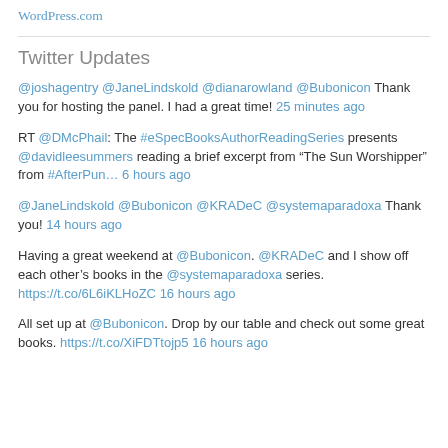WordPress.com
Twitter Updates
@joshagentry @JaneLindskold @dianarowland @Bubonicon Thank you for hosting the panel. I had a great time! 25 minutes ago
RT @DMcPhail: The #eSpecBooksAuthorReadingSeries presents @davidleesummers reading a brief excerpt from “The Sun Worshipper” from #AfterPun… 6 hours ago
@JaneLindskold @Bubonicon @KRADeC @systemaparadoxa Thank you! 14 hours ago
Having a great weekend at @Bubonicon. @KRADeC and I show off each other’s books in the @systemaparadoxa series. https://t.co/6L6iKLHoZC 16 hours ago
All set up at @Bubonicon. Drop by our table and check out some great books. https://t.co/XiFDTtojp5 16 hours ago